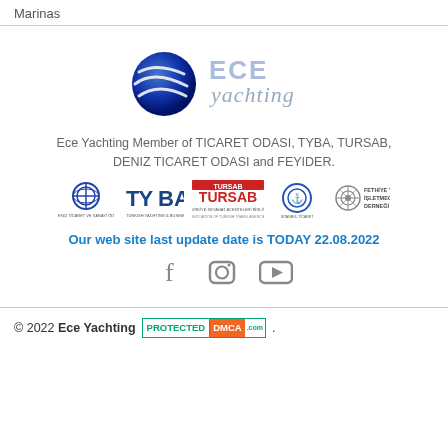Marinas
[Figure (logo): ECE Yachting logo — blue sphere with white swoosh lines and 'ECE yachting' text in gray italic]
Ece Yachting Member of TICARET ODASI, TYBA, TURSAB, DENIZ TICARET ODASI and FEYIDER.
[Figure (logo): Row of member organization logos: Deniz Ticaret Odasi, TYBA, TURSAB, another association, and Fethiye Yat Isletmecileri Dernegi]
Our web site last update date is TODAY 22.08.2022
[Figure (infographic): Social media icons: Facebook, Instagram, YouTube]
© 2022 Ece Yachting PROTECTED DMCA .